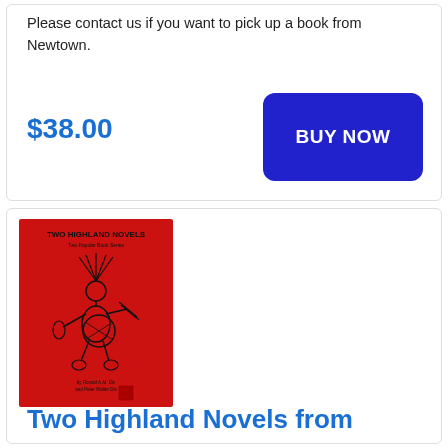Please contact us if you want to pick up a book from Newtown.
$38.00
BUY NOW
[Figure (photo): Red book cover titled 'Two Highland Novels' featuring a line drawing of a Native American dancer in traditional dress with feathered headdress, holding implements, on a bright red background.]
Two Highland Novels from